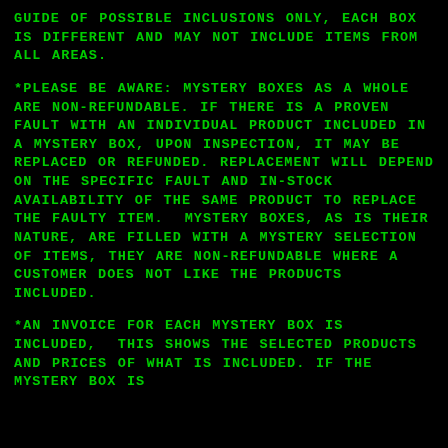GUIDE OF POSSIBLE INCLUSIONS ONLY, EACH BOX IS DIFFERENT AND MAY NOT INCLUDE ITEMS FROM ALL AREAS.
*PLEASE BE AWARE: MYSTERY BOXES AS A WHOLE ARE NON-REFUNDABLE. IF THERE IS A PROVEN FAULT WITH AN INDIVIDUAL PRODUCT INCLUDED IN A MYSTERY BOX, UPON INSPECTION, IT MAY BE REPLACED OR REFUNDED. REPLACEMENT WILL DEPEND ON THE SPECIFIC FAULT AND IN-STOCK AVAILABILITY OF THE SAME PRODUCT TO REPLACE THE FAULTY ITEM.  MYSTERY BOXES, AS IS THEIR NATURE, ARE FILLED WITH A MYSTERY SELECTION OF ITEMS, THEY ARE NON-REFUNDABLE WHERE A CUSTOMER DOES NOT LIKE THE PRODUCTS INCLUDED.
*AN INVOICE FOR EACH MYSTERY BOX IS INCLUDED,  THIS SHOWS THE SELECTED PRODUCTS AND PRICES OF WHAT IS INCLUDED. IF THE MYSTERY BOX IS